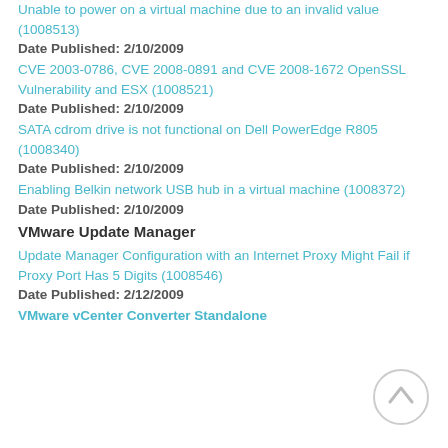Unable to power on a virtual machine due to an invalid value (1008513)
Date Published: 2/10/2009
CVE 2003-0786, CVE 2008-0891 and CVE 2008-1672 OpenSSL Vulnerability and ESX (1008521)
Date Published: 2/10/2009
SATA cdrom drive is not functional on Dell PowerEdge R805 (1008340)
Date Published: 2/10/2009
Enabling Belkin network USB hub in a virtual machine (1008372)
Date Published: 2/10/2009
VMware Update Manager
Update Manager Configuration with an Internet Proxy Might Fail if Proxy Port Has 5 Digits (1008546)
Date Published: 2/12/2009
VMware vCenter Converter Standalone